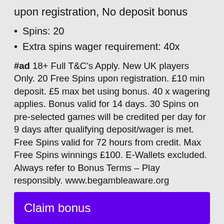upon registration, No deposit bonus
Spins: 20
Extra spins wager requirement: 40x
#ad 18+ Full T&C's Apply. New UK players Only. 20 Free Spins upon registration. £10 min deposit. £5 max bet using bonus. 40 x wagering applies. Bonus valid for 14 days. 30 Spins on pre-selected games will be credited per day for 9 days after qualifying deposit/wager is met. Free Spins valid for 72 hours from credit. Max Free Spins winnings £100. E-Wallets excluded. Always refer to Bonus Terms – Play responsibly. www.begambleaware.org
Claim bonus
T&C Apply